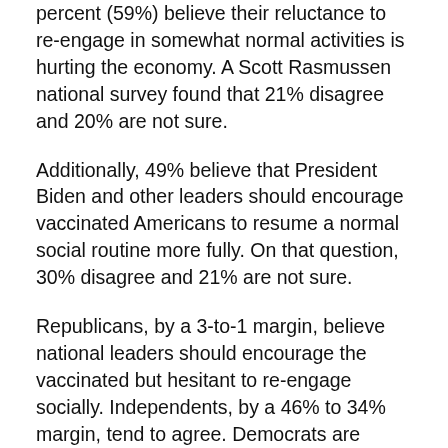percent (59%) believe their reluctance to re-engage in somewhat normal activities is hurting the economy. A Scott Rasmussen national survey found that 21% disagree and 20% are not sure.
Additionally, 49% believe that President Biden and other leaders should encourage vaccinated Americans to resume a normal social routine more fully. On that question, 30% disagree and 21% are not sure.
Republicans, by a 3-to-1 margin, believe national leaders should encourage the vaccinated but hesitant to re-engage socially. Independents, by a 46% to 34% margin, tend to agree. Democrats are evenly divided.